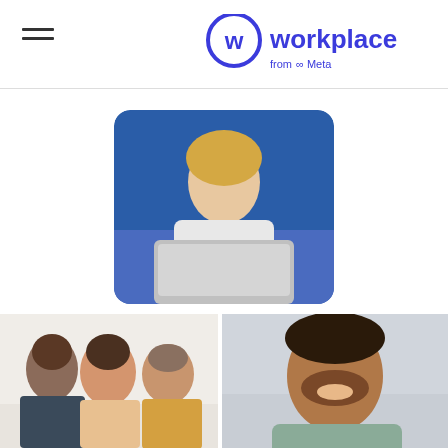[Figure (logo): Workplace from Meta logo — circular W icon in dark blue/purple with 'workplace' text and 'from Meta' subtitle]
[Figure (photo): Woman with blonde hair smiling at laptop, sitting on blue sofa/bed, wearing white top]
[Figure (photo): Three diverse people laughing together in a bright office setting]
[Figure (photo): Man with curly hair and beard smiling/laughing, close-up portrait]